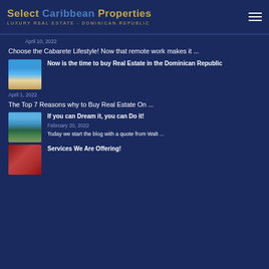Select Caribbean Properties LUXURY REAL ESTATE - DOMINICAN REPUBLIC
April 10, 2022
Choose the Cabarete Lifestyle! Now that remote work makes it ...
[Figure (photo): Thumbnail photo of beach ocean view through glass doors]
Now is the time to buy Real Estate in the Dominican Republic
April 1, 2022
The Top 7 Reasons why to Buy Real Estate On ...
[Figure (photo): Thumbnail photo of villa with pool and tropical garden]
If you can Dream it, you can Do it!
February 20, 2022
Today we start the blog with a quote from Walt ...
[Figure (photo): Thumbnail photo with red tones showing interior]
Services We Are Offering!